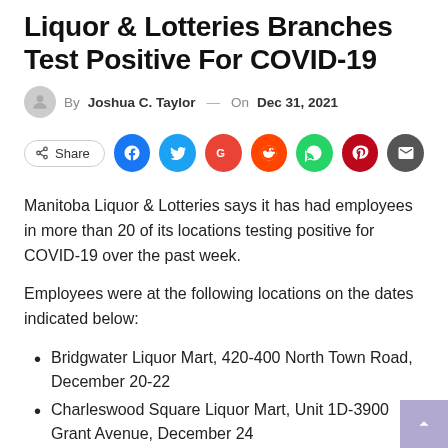Liquor & Lotteries Branches Test Positive For COVID-19
By Joshua C. Taylor — On Dec 31, 2021
[Figure (other): Social share bar with Share button and icons for Facebook, Twitter, Google, Reddit, WhatsApp, Pinterest, Email]
Manitoba Liquor & Lotteries says it has had employees in more than 20 of its locations testing positive for COVID-19 over the past week.
Employees were at the following locations on the dates indicated below:
Bridgwater Liquor Mart, 420-400 North Town Road, December 20-22
Charleswood Square Liquor Mart, Unit 1D-3900 Grant Avenue, December 24